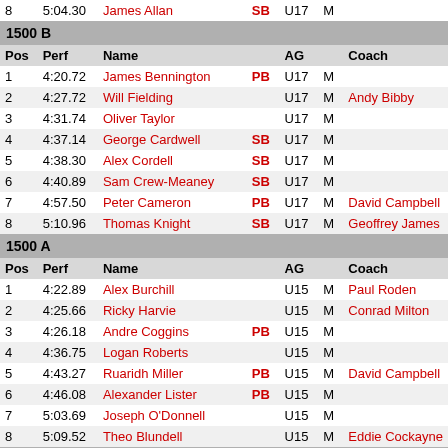| Pos | Perf | Name |  | AG |  | Coach |
| --- | --- | --- | --- | --- | --- | --- |
| 8 | 5:04.30 | James Allan | SB | U17 | M |  |
| 1500 B |  |  |  |  |  |  |
| Pos | Perf | Name |  | AG |  | Coach |
| 1 | 4:20.72 | James Bennington | PB | U17 | M |  |
| 2 | 4:27.72 | Will Fielding |  | U17 | M | Andy Bibby |
| 3 | 4:31.74 | Oliver Taylor |  | U17 | M |  |
| 4 | 4:37.14 | George Cardwell | SB | U17 | M |  |
| 5 | 4:38.30 | Alex Cordell | SB | U17 | M |  |
| 6 | 4:40.89 | Sam Crew-Meaney | SB | U17 | M |  |
| 7 | 4:57.50 | Peter Cameron | PB | U17 | M | David Campbell |
| 8 | 5:10.96 | Thomas Knight | SB | U17 | M | Geoffrey James |
| 1500 A |  |  |  |  |  |  |
| Pos | Perf | Name |  | AG |  | Coach |
| 1 | 4:22.89 | Alex Burchill |  | U15 | M | Paul Roden |
| 2 | 4:25.66 | Ricky Harvie |  | U15 | M | Conrad Milton |
| 3 | 4:26.18 | Andre Coggins | PB | U15 | M |  |
| 4 | 4:36.75 | Logan Roberts |  | U15 | M |  |
| 5 | 4:43.27 | Ruaridh Miller | PB | U15 | M | David Campbell |
| 6 | 4:46.08 | Alexander Lister | PB | U15 | M |  |
| 7 | 5:03.69 | Joseph O'Donnell |  | U15 | M |  |
| 8 | 5:09.52 | Theo Blundell |  | U15 | M | Eddie Cockayne |
| 1500 B |  |  |  |  |  |  |
| Pos | Perf | Name |  | AG |  | Coach |